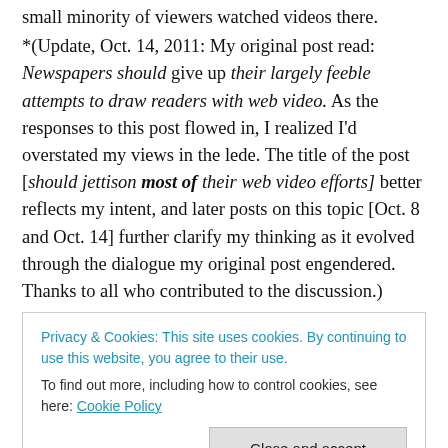small minority of viewers watched videos there.
*(Update, Oct. 14, 2011: My original post read: Newspapers should give up their largely feeble attempts to draw readers with web video. As the responses to this post flowed in, I realized I'd overstated my views in the lede. The title of the post [should jettison most of their web video efforts] better reflects my intent, and later posts on this topic [Oct. 8 and Oct. 14] further clarify my thinking as it evolved through the dialogue my original post engendered. Thanks to all who contributed to the discussion.)
Privacy & Cookies: This site uses cookies. By continuing to use this website, you agree to their use.
To find out more, including how to control cookies, see here: Cookie Policy
expansion of its video programming this week).